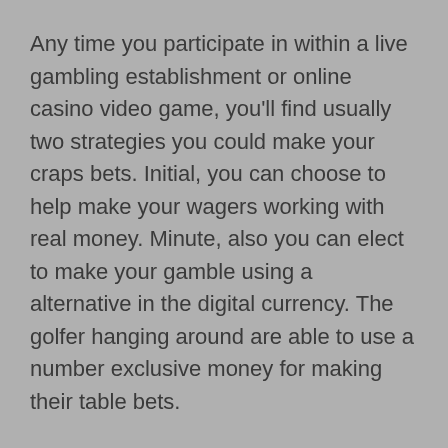Any time you participate in within a live gambling establishment or online casino video game, you'll find usually two strategies you could make your craps bets. Initial, you can choose to help make your wagers working with real money. Minute, also you can elect to make your gamble using a alternative in the digital currency. The golfer hanging around are able to use a number exclusive money for making their table bets.
There are a few online casinos that allow gamers to relax and play online with free streaming on line casino game titles on their website. On such sites, game enthusiasts can analyze their good fortune in video slot machine video game titles. Persons can test their good